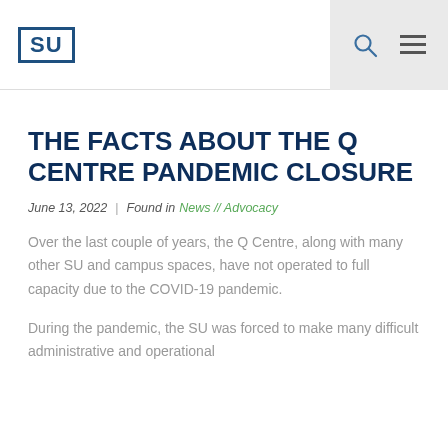SU logo, search icon, menu icon
THE FACTS ABOUT THE Q CENTRE PANDEMIC CLOSURE
June 13, 2022  |  Found in News // Advocacy
Over the last couple of years, the Q Centre, along with many other SU and campus spaces, have not operated to full capacity due to the COVID-19 pandemic.
During the pandemic, the SU was forced to make many difficult administrative and operational